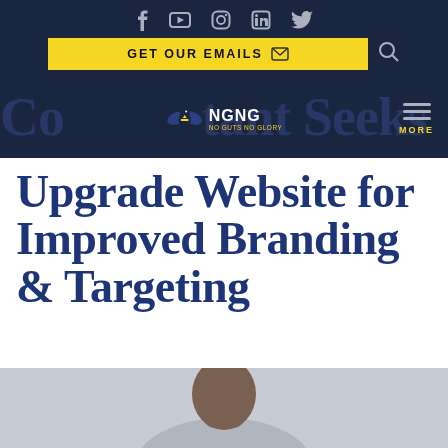Social icons: Facebook, YouTube, Instagram, LinkedIn, Twitter
GET OUR EMAILS
[Figure (logo): NGNG No Guts No Glory logo with eagle/bird emblem and MORE navigation button]
Consultant Seeks to Upgrade Website for Improved Branding & Targeting
[Figure (photo): Portrait photo of a person, head and shoulders visible, light background]